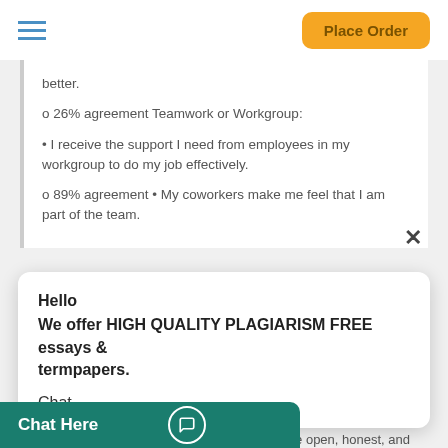Place Order
better.
o 26% agreement Teamwork or Workgroup:
• I receive the support I need from employees in my workgroup to do my job effectively.
o 89% agreement • My coworkers make me feel that I am part of the team.
Hello
We offer HIGH QUALITY PLAGIARISM FREE essays & termpapers.

Chat...
Senior Leader/Middle Manager: • Senior leaders focus on
e open, honest, and